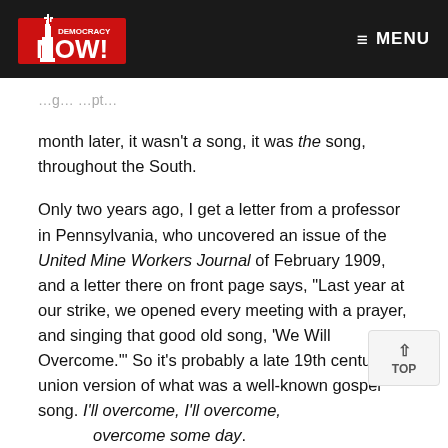Democracy Now! — MENU
month later, it wasn't a song, it was the song, throughout the South.
Only two years ago, I get a letter from a professor in Pennsylvania, who uncovered an issue of the United Mine Workers Journal of February 1909, and a letter there on front page says, "Last year at our strike, we opened every meeting with a prayer, and singing that good old song, 'We Will Overcome.'" So it's probably a late 19th century union version of what was a well-known gospel song. I'll overcome, I'll overcome, overcome some day.
AMY GOODMAN: You sang it for Martin Luther